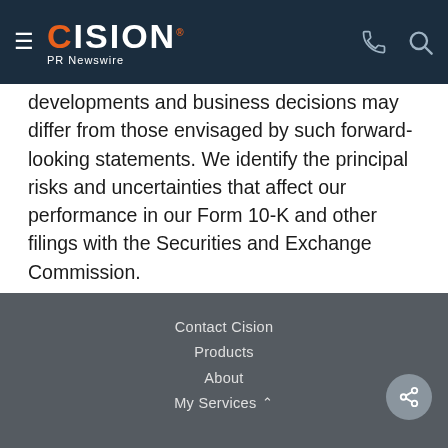CISION PR Newswire
developments and business decisions may differ from those envisaged by such forward-looking statements. We identify the principal risks and uncertainties that affect our performance in our Form 10-K and other filings with the Securities and Exchange Commission.
SOURCE Honeywell Friction Materials
Contact Cision
Products
About
My Services